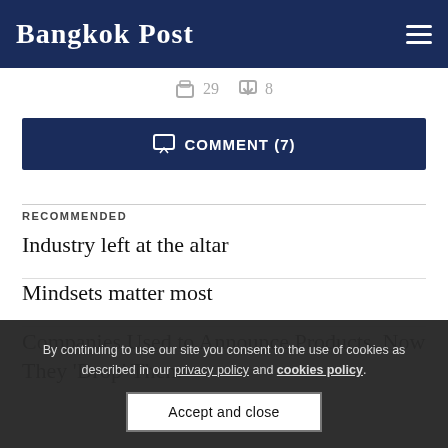Bangkok Post
29   8
COMMENT (7)
RECOMMENDED
Industry left at the altar
Mindsets matter most
Companies Used to Announce Products. Now They 'Drop' Them
By continuing to use our site you consent to the use of cookies as described in our privacy policy and cookies policy.
Accept and close